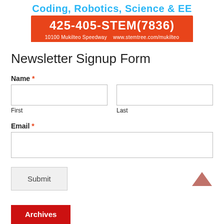[Figure (logo): STEMtree header with cyan text 'Coding, Robotics, Science & EE' and orange banner showing '425-405-STEM(7836)' and address '10100 Mukilteo Speedway  www.stemtree.com/mukilteo']
Newsletter Signup Form
Name *
First
Last
Email *
Submit
Archives